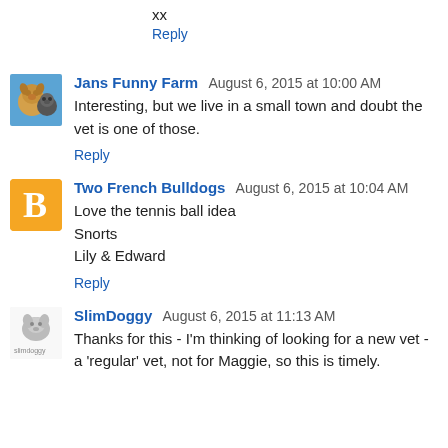xx
Reply
Jans Funny Farm  August 6, 2015 at 10:00 AM
Interesting, but we live in a small town and doubt the vet is one of those.
Reply
Two French Bulldogs  August 6, 2015 at 10:04 AM
Love the tennis ball idea
Snorts
Lily & Edward
Reply
SlimDoggy  August 6, 2015 at 11:13 AM
Thanks for this - I'm thinking of looking for a new vet - a 'regular' vet, not for Maggie, so this is timely.